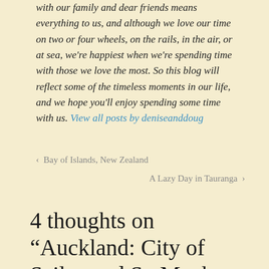with our family and dear friends means everything to us, and although we love our time on two or four wheels, on the rails, in the air, or at sea, we're happiest when we're spending time with those we love the most. So this blog will reflect some of the timeless moments in our life, and we hope you'll enjoy spending some time with us. View all posts by deniseanddoug
< Bay of Islands, New Zealand
A Lazy Day in Tauranga >
4 thoughts on “Auckland: City of Sails...and So Much More!”